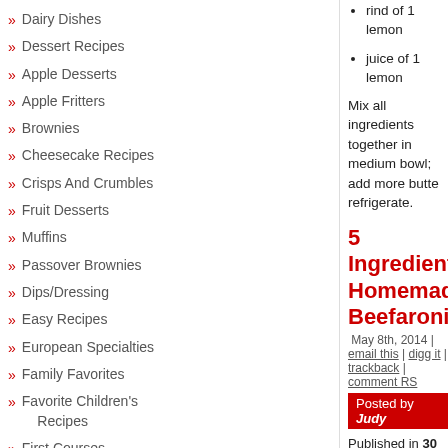rind of 1 lemon
juice of 1 lemon
Mix all ingredients together in medium bowl; add more butter refrigerate.
5 Ingredient Homemade Beefaroni
May 8th, 2014 | email this | digg it | trackback | comment RS
Posted by Judy
Published in 30 Minute Dinners, Beef Recipes, Children, C Recipes, Family Favorites, Favorite Children's Recipes, h Pasta Recipes
I'm always trying new recipes I think my grandkids might like yesterday. I was skyping with my son Benji who's in Vietnam discussing all the different recipes he wants me to make whe weeks. I was showing him pictures of the beefaroni I was coo the night he gets home from Vietnam, he wants that dish wai
1 lb. good chop meat from Whole Foods
1 28 oz. can organic crushed tomatoes
1 medium to large onion chopped (optional if making onions)
Dairy Dishes
Dessert Recipes
Apple Desserts
Apple Fritters
Brownies
Cheesecake Recipes
Crisps And Crumbles
Fruit Desserts
Muffins
Passover Brownies
Dips/Dressing
Easy Recipes
European Specialties
Family Favorites
Favorite Children's Recipes
First Courses
Fish Recipes
Shrimp Recipes
Fritattas And Quiches
Greek dishes